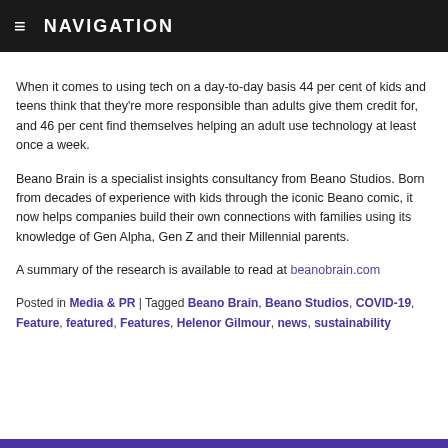NAVIGATION
When it comes to using tech on a day-to-day basis 44 per cent of kids and teens think that they're more responsible than adults give them credit for, and 46 per cent find themselves helping an adult use technology at least once a week.
Beano Brain is a specialist insights consultancy from Beano Studios. Born from decades of experience with kids through the iconic Beano comic, it now helps companies build their own connections with families using its knowledge of Gen Alpha, Gen Z and their Millennial parents.
A summary of the research is available to read at beanobrain.com
Posted in Media & PR | Tagged Beano Brain, Beano Studios, COVID-19, Feature, featured, Features, Helenor Gilmour, news, sustainability